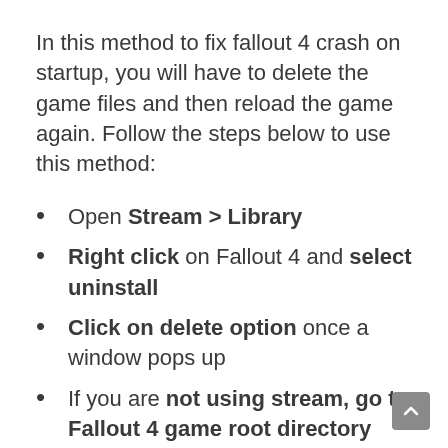In this method to fix fallout 4 crash on startup, you will have to delete the game files and then reload the game again. Follow the steps below to use this method:
Open Stream > Library
Right click on Fallout 4 and select uninstall
Click on delete option once a window pops up
If you are not using stream, go to Fallout 4 game root directory
Find uninstall and click on it.
Once done, reinstall the game again